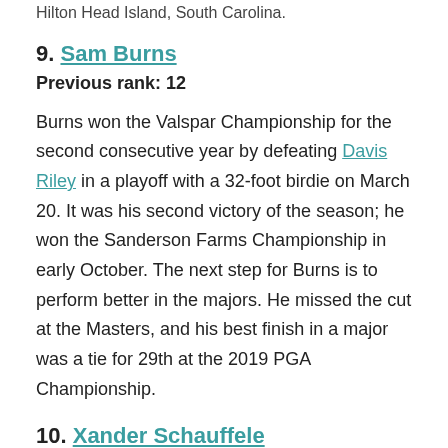Hilton Head Island, South Carolina.
9. Sam Burns
Previous rank: 12
Burns won the Valspar Championship for the second consecutive year by defeating Davis Riley in a playoff with a 32-foot birdie on March 20. It was his second victory of the season; he won the Sanderson Farms Championship in early October. The next step for Burns is to perform better in the majors. He missed the cut at the Masters, and his best finish in a major was a tie for 29th at the 2019 PGA Championship.
10. Xander Schauffele
Previous rank: 10
Even though the Zurich Classic was a team event...